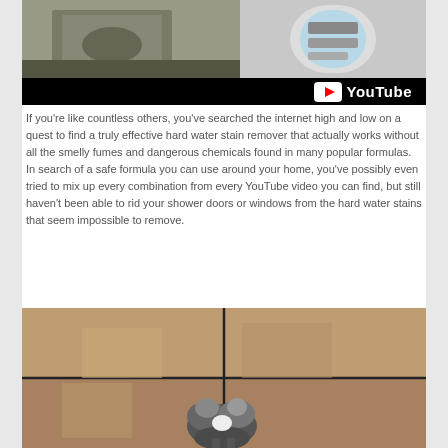[Figure (screenshot): YouTube video thumbnail showing cleaning products - a car/toy and a blue container with YouTube logo overlay]
If you're like countless others, you've searched the internet high and low on a quest to find a truly effective hard water stain remover that actually works without all the smelly fumes and dangerous chemicals found in many popular formulas.
In search of a safe formula you can use around your home, you've possibly even tried to mix up every combination from every YouTube video you can find, but still haven't been able to rid your shower doors or windows from the hard water stains that seem impossible to remove.
[Figure (photo): Photo of a cat sitting in a shower/bathroom with tiled walls, visible through glass shower doors]